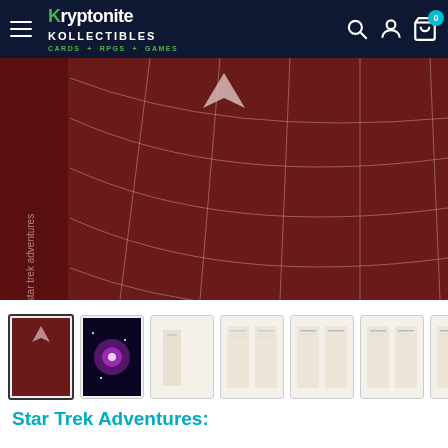Kryptonite Kollectibles — CARDS + RPGS + GAMES
[Figure (photo): Large product image of a dark red/maroon hardcover book (Star Trek Adventures RPG) with a grid/web pattern embossed on the cover, shown at an angle.]
[Figure (photo): Thumbnail strip showing 7 product images: the dark red book cover, a space nebula image, a single page spread, and various interior page layouts.]
Star Trek Adventures: